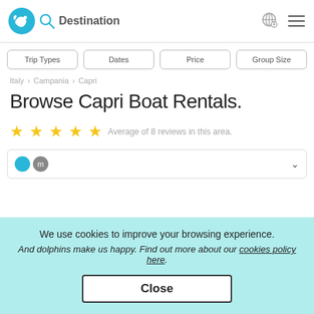[Figure (screenshot): Navigation bar with blue fish logo, search icon, Destination text, globe icon, and hamburger menu]
[Figure (screenshot): Filter buttons row: Trip Types, Dates, Price, Group Size]
Italy > Campania > Capri
Browse Capri Boat Rentals.
★★★★★ Average of 8 reviews in this area.
We use cookies to improve your browsing experience.
And dolphins make us happy. Find out more about our cookies policy here.
Close